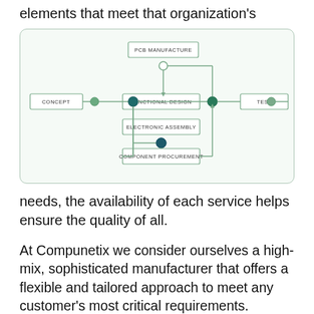elements that meet that organization's
[Figure (flowchart): Electronics manufacturing process flowchart showing: CONCEPT → (node) → FUNCTIONAL DESIGN → (node) → TEST, with a loop through PCB MANUFACTURE above and ELECTRONIC ASSEMBLY and COMPONENT PROCUREMENT below, connected by rounded rectangular path with arrows and circle nodes.]
needs, the availability of each service helps ensure the quality of all.
At Compunetix we consider ourselves a high-mix, sophisticated manufacturer that offers a flexible and tailored approach to meet any customer's most critical requirements. Compunetix has all the processes and procedures in place to accommodate full turnkey, consigned or kitted inventory, electronic manufacturing and